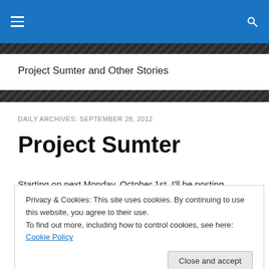Project Sumter and Other Stories
DAILY ARCHIVES: SEPTEMBER 28, 2012
Project Sumter
Starting on next Monday, October 1st, I'll be posting...
Privacy & Cookies: This site uses cookies. By continuing to use this website, you agree to their use. To find out more, including how to control cookies, see here: Cookie Policy
Close and accept